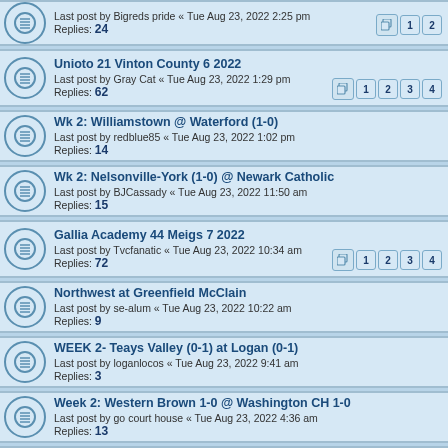Last post by Bigreds pride « Tue Aug 23, 2022 2:25 pm
Replies: 24
Unioto 21 Vinton County 6 2022
Last post by Gray Cat « Tue Aug 23, 2022 1:29 pm
Replies: 62
Wk 2: Williamstown @ Waterford (1-0)
Last post by redblue85 « Tue Aug 23, 2022 1:02 pm
Replies: 14
Wk 2: Nelsonville-York (1-0) @ Newark Catholic
Last post by BJCassady « Tue Aug 23, 2022 11:50 am
Replies: 15
Gallia Academy 44 Meigs 7 2022
Last post by Tvcfanatic « Tue Aug 23, 2022 10:34 am
Replies: 72
Northwest at Greenfield McClain
Last post by se-alum « Tue Aug 23, 2022 10:22 am
Replies: 9
WEEK 2- Teays Valley (0-1) at Logan (0-1)
Last post by loganlocos « Tue Aug 23, 2022 9:41 am
Replies: 3
Week 2: Western Brown 1-0 @ Washington CH 1-0
Last post by go court house « Tue Aug 23, 2022 4:36 am
Replies: 13
Week 2 Oak Hill vs Piketon
Last post by Ironman92 « Mon Aug 22, 2022 8:39 pm
Replies: 10